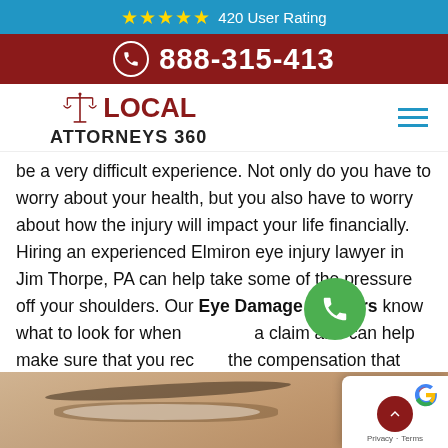[Figure (infographic): Blue rating bar with 5 gold stars and '420 User Rating' text]
[Figure (infographic): Dark red bar with phone icon and number 888-315-413]
[Figure (logo): Local Attorneys 360 logo with scales of justice icon in red and hamburger menu icon]
be a very difficult experience. Not only do you have to worry about your health, but you also have to worry about how the injury will impact your life financially. Hiring an experienced Elmiron eye injury lawyer in Jim Thorpe, PA can help take some of the pressure off your shoulders. Our Eye Damage Lawyers know what to look for when filing a claim and can help make sure that you receive the compensation that you deserve.
[Figure (photo): Close-up photo of a person's face focusing on their eye area]